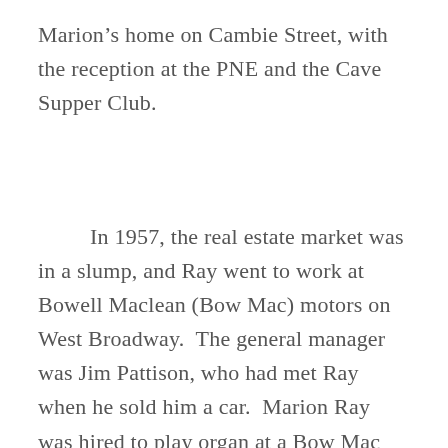Marion's home on Cambie Street, with the reception at the PNE and the Cave Supper Club.
In 1957, the real estate market was in a slump, and Ray went to work at Bowell Maclean (Bow Mac) motors on West Broadway.  The general manager was Jim Pattison, who had met Ray when he sold him a car.  Marion Ray was hired to play organ at a Bow Mac function, and suggested to Pattison that he hire Wilf.  So he did.